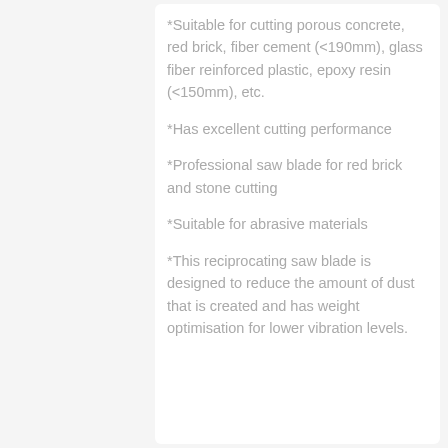*Suitable for cutting porous concrete, red brick, fiber cement (<190mm), glass fiber reinforced plastic, epoxy resin (<150mm), etc.
*Has excellent cutting performance
*Professional saw blade for red brick and stone cutting
*Suitable for abrasive materials
*This reciprocating saw blade is designed to reduce the amount of dust that is created and has weight optimisation for lower vibration levels.